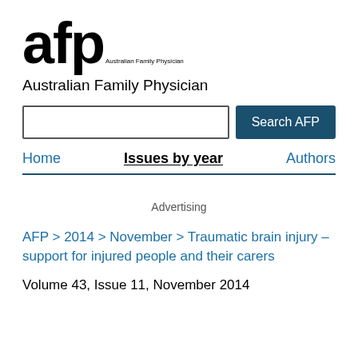[Figure (logo): AFP (Australian Family Physician) logo with large 'afp' text and tagline 'Australian Family Physician']
Australian Family Physician
[Figure (other): Search input box and 'Search AFP' button]
Home   Issues by year   Authors
Advertising
AFP > 2014 > November > Traumatic brain injury – support for injured people and their carers
Volume 43, Issue 11, November 2014